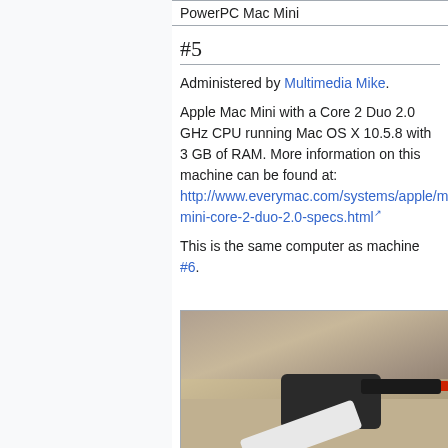| PowerPC Mac Mini |
#5
Administered by Multimedia Mike.
Apple Mac Mini with a Core 2 Duo 2.0 GHz CPU running Mac OS X 10.5.8 with 3 GB of RAM. More information on this machine can be found at: http://www.everymac.com/systems/apple/mac_mini/stats/mac-mini-core-2-duo-2.0-specs.html
This is the same computer as machine #6.
[Figure (photo): Photo of an Apple Mac Mini with USB hub and cables on a desk surface]